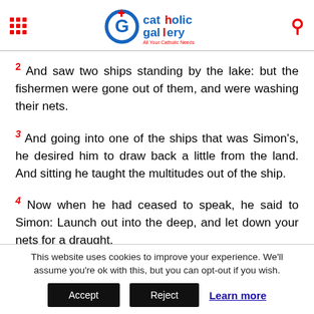Catholic Gallery – All Your Catholic Needs
2 And saw two ships standing by the lake: but the fishermen were gone out of them, and were washing their nets.
3 And going into one of the ships that was Simon's, he desired him to draw back a little from the land. And sitting he taught the multitudes out of the ship.
4 Now when he had ceased to speak, he said to Simon: Launch out into the deep, and let down your nets for a draught.
This website uses cookies to improve your experience. We'll assume you're ok with this, but you can opt-out if you wish. Accept Reject Learn more